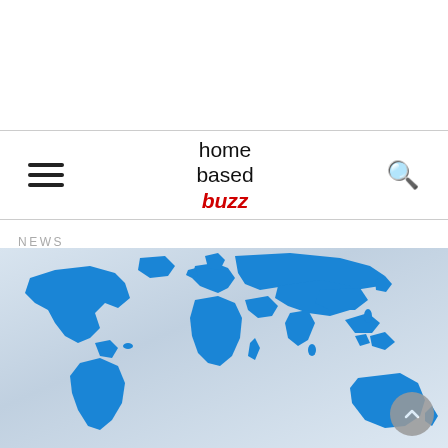home based buzz
NEWS
[Figure (map): Blue world map on a light grey gradient background, showing all continents in blue silhouette. A circular scroll-up button appears in the bottom right corner.]